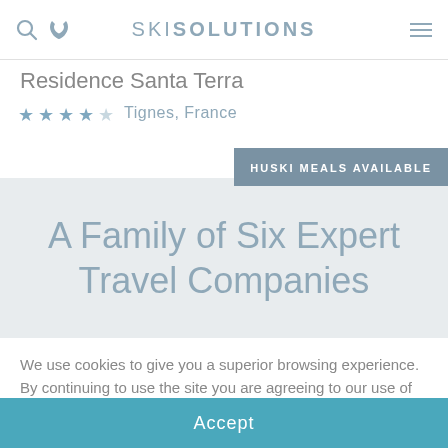SKI SOLUTIONS
Residence Santa Terra
★★★★☆ Tignes, France
HUSKI MEALS AVAILABLE
A Family of Six Expert Travel Companies
We use cookies to give you a superior browsing experience. By continuing to use the site you are agreeing to our use of cookies. Find out more here.
Accept